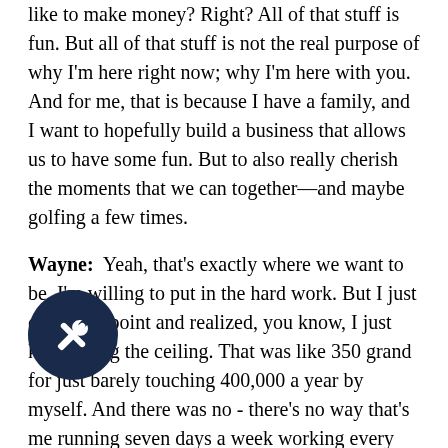like to make money? Right? All of that stuff is fun. But all of that stuff is not the real purpose of why I'm here right now; why I'm here with you. And for me, that is because I have a family, and I want to hopefully build a business that allows us to have some fun. But to also really cherish the moments that we can together—and maybe golfing a few times.

Wayne: Yeah, that's exactly where we want to be. I'm willing to put in the hard work. But I just came to a point and realized, you know, I just kept hitting the ceiling. That was like 350 grand for just barely touching 400,000 a year by myself. And there was no - there's no way that's me running seven days a week working every weekend call. Doing everything I could to grab every dollar, I was like, Dude, you're 35. You can do it now. In five years, you are not going to do it, Sunshine. My body was already telling me that ain't going to happen. It is not going to happen, that's, that's all there was to it. So I've got to bring people. And there are good people in the world who want to help you make your dreams come true if you can help theirs come true. The more. And that's what it's all been. It's been a...
[Figure (logo): Dark navy circular badge with a wrench/tool icon in white]